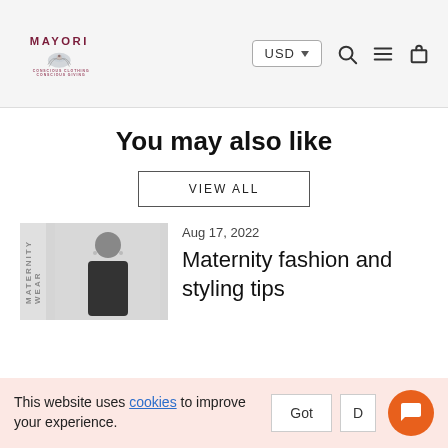[Figure (logo): Mayori brand logo with peacock illustration and tagline 'CONSCIOUS CLOTHING CONSCIOUS GIVING']
You may also like
VIEW ALL
[Figure (photo): Blog thumbnail: woman in black outfit, labelled MATERNITY WEAR]
Aug 17, 2022
Maternity fashion and styling tips
This website uses cookies to improve your experience.